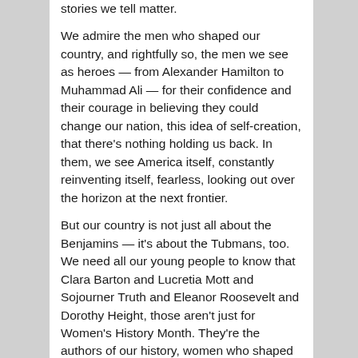stories we tell matter. We admire the men who shaped our country, and rightfully so, the men we see as heroes — from Alexander Hamilton to Muhammad Ali — for their confidence and their courage in believing they could change our nation, this idea of self-creation, that there's nothing holding us back.  In them, we see America itself, constantly reinventing itself, fearless, looking out over the horizon at the next frontier. But our country is not just all about the Benjamins — it's about the Tubmans, too.  We need all our young people to know that Clara Barton and Lucretia Mott and Sojourner Truth and Eleanor Roosevelt and Dorothy Height, those aren't just for Women's History Month.  They're the authors of our history, women who shaped their destiny.  They need to know that. A woman did not magically appear on a space...